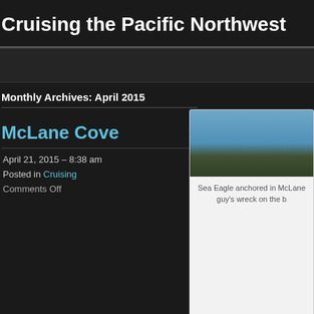Cruising the Pacific Northwest
Monthly Archives: April 2015
McLane Cove
April 21, 2015 – 8:38 am
Posted in Cruising
Comments Off
[Figure (photo): Photo of Sea Eagle anchored in McLane Cove with trees and blue sky]
Sea Eagle anchored in McLane guy's wreck on the b